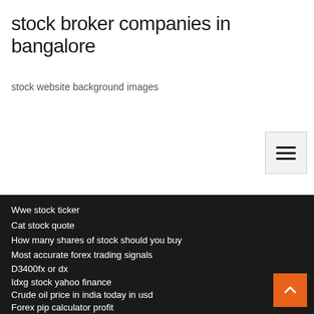stock broker companies in bangalore
stock website background images
Wwe stock ticker
Cat stock quote
How many shares of stock should you buy
Most accurate forex trading signals
D3400fx or dx
Idxg stock yahoo finance
Crude oil price in india today in usd
Forex pip calculator profit